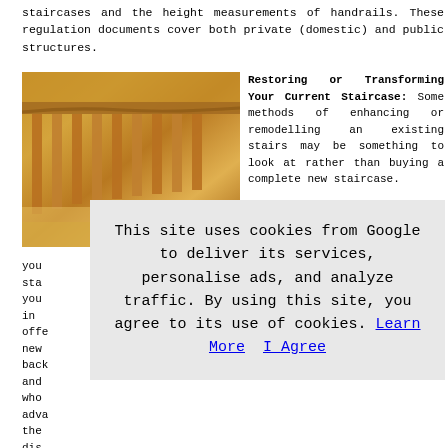staircases and the height measurements of handrails. These regulation documents cover both private (domestic) and public structures.
[Figure (photo): Close-up photo of a wooden staircase banister and spindles, warm golden-brown oak wood tones.]
Restoring or Transforming Your Current Staircase: Some methods of enhancing or remodelling an existing stairs may be something to look at rather than buying a complete new staircase.
you sta you in offe new back and who adva the dis speci ty.
This site uses cookies from Google to deliver its services, personalise ads, and analyze traffic. By using this site, you agree to its use of cookies. Learn More   I Agree